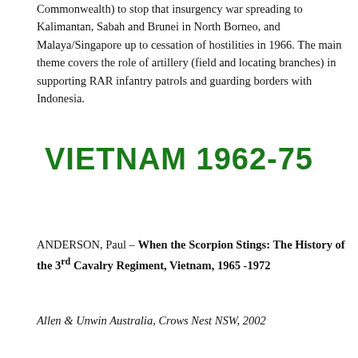Commonwealth) to stop that insurgency war spreading to Kalimantan, Sabah and Brunei in North Borneo, and Malaya/Singapore up to cessation of hostilities in 1966. The main theme covers the role of artillery (field and locating branches) in supporting RAR infantry patrols and guarding borders with Indonesia.
VIETNAM 1962-75
ANDERSON, Paul – When the Scorpion Stings: The History of the 3rd Cavalry Regiment, Vietnam, 1965 -1972
Allen & Unwin Australia, Crows Nest NSW, 2002